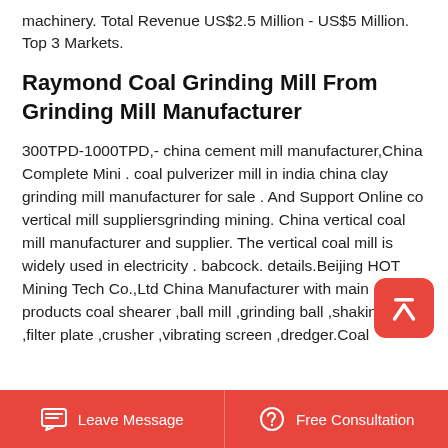machinery. Total Revenue US$2.5 Million - US$5 Million. Top 3 Markets.
Raymond Coal Grinding Mill From Grinding Mill Manufacturer
300TPD-1000TPD,- china cement mill manufacturer,China Complete Mini . coal pulverizer mill in india china clay grinding mill manufacturer for sale . And Support Online co vertical mill suppliersgrinding mining. China vertical coal mill manufacturer and supplier. The vertical coal mill is widely used in electricity . babcock. details.Beijing HOT Mining Tech Co.,Ltd China Manufacturer with main products coal shearer ,ball mill ,grinding ball ,shaking table ,filter plate ,crusher ,vibrating screen ,dredger.Coal
[Figure (other): Red scroll-to-top button with upward chevron arrow]
Leave Message   Free Consultation